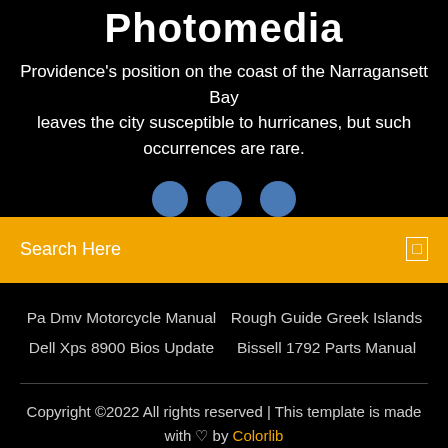Photomedia
Providence's position on the coast of the Narragansett Bay leaves the city susceptible to hurricanes, but such occurrences are rare.
[Figure (other): Three blue circular social media icons]
Search Here
Pa Dmv Motorcycle Manual  Rough Guide Greek Islands  Dell Xps 8900 Bios Update  Bissell 1792 Parts Manual
Copyright ©2022 All rights reserved | This template is made with ♡ by Colorlib